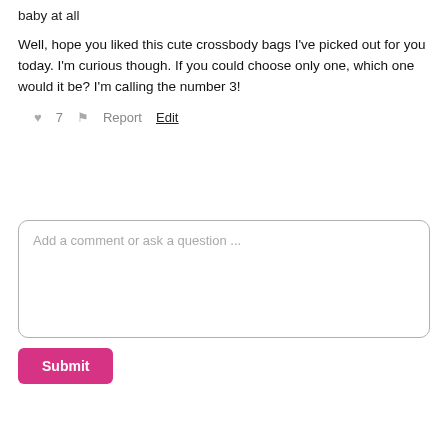baby at all
Well, hope you liked this cute crossbody bags I've picked out for you today. I'm curious though. If you could choose only one, which one would it be? I'm calling the number 3!
♥ 7   ⚑ Report   Edit
Add a comment or ask a question ...
Submit